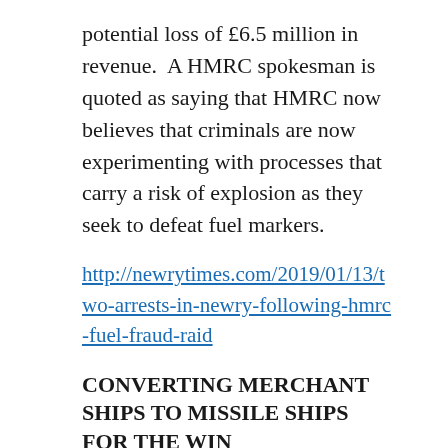potential loss of £6.5 million in revenue.  A HMRC spokesman is quoted as saying that HMRC now believes that criminals are now experimenting with processes that carry a risk of explosion as they seek to defeat fuel markers.
http://newrytimes.com/2019/01/13/two-arrests-in-newry-following-hmrc-fuel-fraud-raid
CONVERTING MERCHANT SHIPS TO MISSILE SHIPS FOR THE WIN
The US Naval Institute has published an article saying that the US Navy wants and needs more